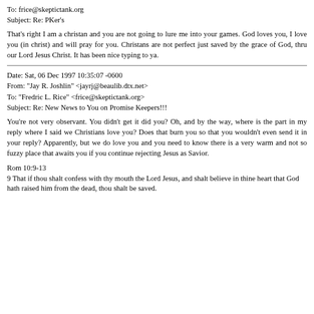To: frice@skeptictank.org
Subject: Re: PKer's
That's right I am a christan and you are not going to lure me into your games. God loves you, I love you (in christ) and will pray for you. Christans are not perfect just saved by the grace of God, thru our Lord Jesus Christ. It has been nice typing to ya.
Date: Sat, 06 Dec 1997 10:35:07 -0600
From: "Jay R. Joshlin" <jayrj@beaulib.dtx.net>
To: "Fredric L. Rice" <frice@skeptictank.org>
Subject: Re: New News to You on Promise Keepers!!!
You're not very observant. You didn't get it did you? Oh, and by the way, where is the part in my reply where I said we Christians love you? Does that burn you so that you wouldn't even send it in your reply? Apparently, but we do love you and you need to know there is a very warm and not so fuzzy place that awaits you if you continue rejecting Jesus as Savior.
Rom 10:9-13
9 That if thou shalt confess with thy mouth the Lord Jesus, and shalt believe in thine heart that God hath raised him from the dead, thou shalt be saved.